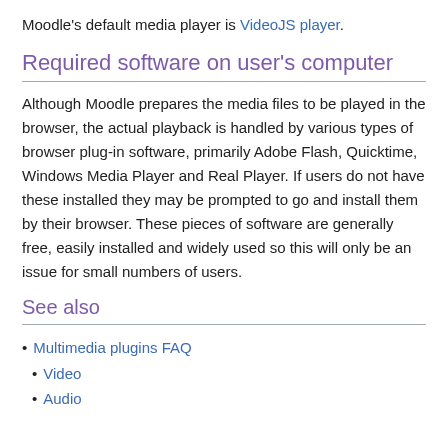Moodle's default media player is VideoJS player.
Required software on user's computer
Although Moodle prepares the media files to be played in the browser, the actual playback is handled by various types of browser plug-in software, primarily Adobe Flash, Quicktime, Windows Media Player and Real Player. If users do not have these installed they may be prompted to go and install them by their browser. These pieces of software are generally free, easily installed and widely used so this will only be an issue for small numbers of users.
See also
Multimedia plugins FAQ
Video
Audio